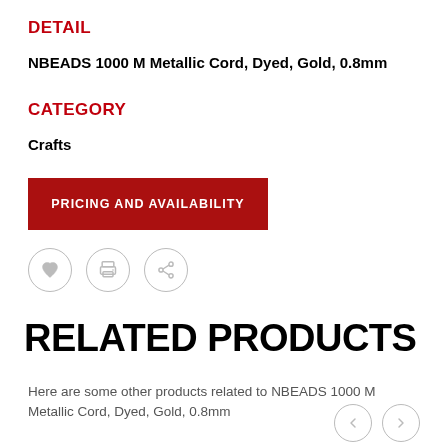DETAIL
NBEADS 1000 M Metallic Cord, Dyed, Gold, 0.8mm
CATEGORY
Crafts
[Figure (other): Red button labeled PRICING AND AVAILABILITY]
[Figure (other): Three icon circles: heart (favorite), printer, share]
RELATED PRODUCTS
Here are some other products related to NBEADS 1000 M Metallic Cord, Dyed, Gold, 0.8mm
[Figure (other): Navigation arrows (left and right) for carousel]